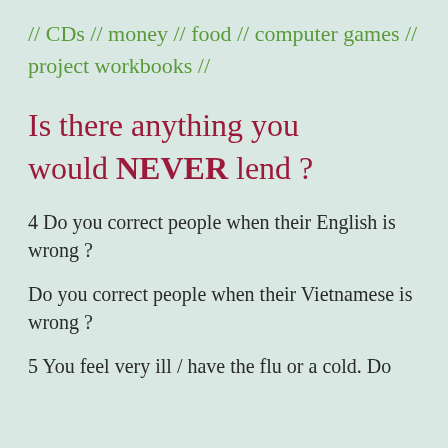// CDs // money // food // computer games // project workbooks //
Is there anything you would NEVER lend ?
4 Do you correct people when their English is wrong ?
Do you correct people when their Vietnamese is wrong ?
5 You feel very ill / have the flu or a cold. Do